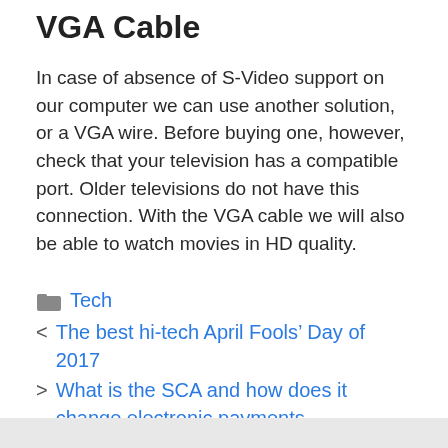VGA Cable
In case of absence of S-Video support on our computer we can use another solution, or a VGA wire. Before buying one, however, check that your television has a compatible port. Older televisions do not have this connection. With the VGA cable we will also be able to watch movies in HD quality.
Tech
The best hi-tech April Fools’ Day of 2017
What is the SCA and how does it change electronic payments